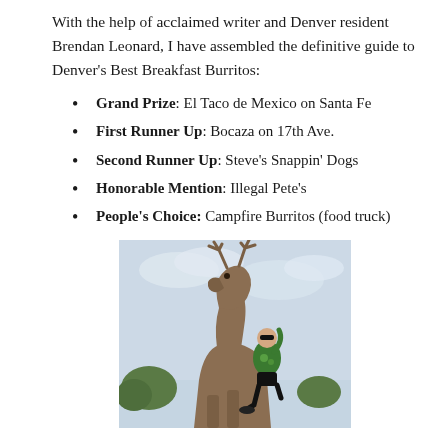With the help of acclaimed writer and Denver resident Brendan Leonard, I have assembled the definitive guide to Denver's Best Breakfast Burritos:
Grand Prize: El Taco de Mexico on Santa Fe
First Runner Up: Bocaza on 17th Ave.
Second Runner Up: Steve's Snappin' Dogs
Honorable Mention: Illegal Pete's
People's Choice: Campfire Burritos (food truck)
[Figure (photo): A person in cycling gear climbing on a large bronze elk statue outdoors, with trees and cloudy sky in the background.]